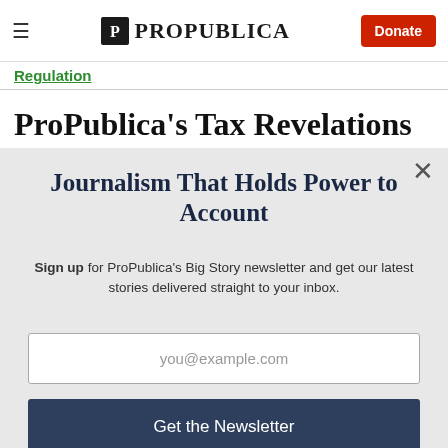≡  ProPublica  Donate
Regulation
ProPublica's Tax Revelations
Journalism That Holds Power to Account
Sign up for ProPublica's Big Story newsletter and get our latest stories delivered straight to your inbox.
you@example.com
Get the Newsletter
No thanks, I'm all set
This site is protected by reCAPTCHA and the Google Privacy Policy and Terms of Service apply.